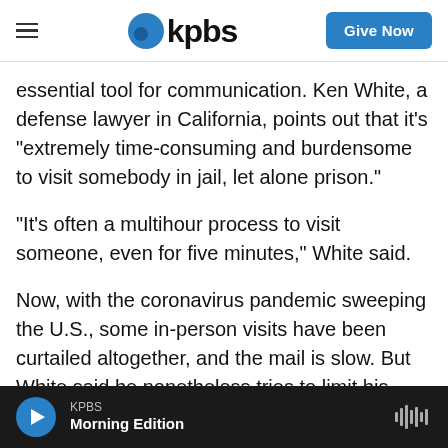KPBS — Give Now
essential tool for communication. Ken White, a defense lawyer in California, points out that it's "extremely time-consuming and burdensome to visit somebody in jail, let alone prison."
"It's often a multihour process to visit someone, even for five minutes," White said.
Now, with the coronavirus pandemic sweeping the U.S., some in-person visits have been curtailed altogether, and the mail is slow. But White said he nonetheless tries to limit his communications on the BOP email system, using it to notify
KPBS Morning Edition